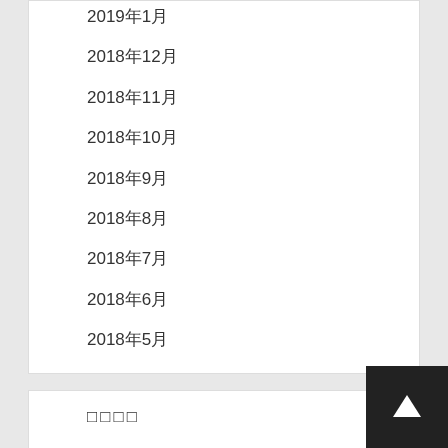2019年1月
2018年12月
2018年11月
2018年10月
2018年9月
2018年8月
2018年7月
2018年6月
2018年5月
□□□□